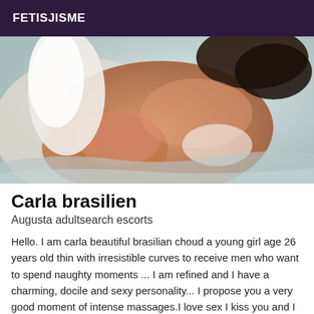FETISJISME
[Figure (photo): A woman posing on a bed with satin sheets]
Carla brasilien
Augusta adultsearch escorts
Hello. I am carla beautiful brasilian choud a young girl age 26 years old thin with irresistible curves to receive men who want to spend naughty moments ... I am refined and I have a charming, docile and sexy personality... I propose you a very good moment of intense massages.I love sex I kiss you and I caress all